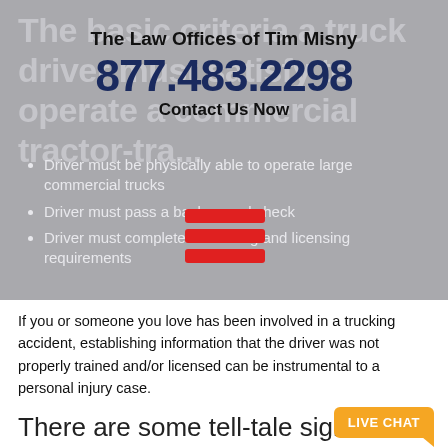The basic criteria a truck driver must satisfy to operate a commercial tractor-tra...
The Law Offices of Tim Misny
877.483.2298
Contact Us Now
Driver must be physically able to operate large commercial trucks
Driver must pass a background check
Driver must complete all training and licensing requirements
If you or someone you love has been involved in a trucking accident, establishing information that the driver was not properly trained and/or licensed can be instrumental to a personal injury case.
There are some tell-tale signs that indicate a truck driver has not been